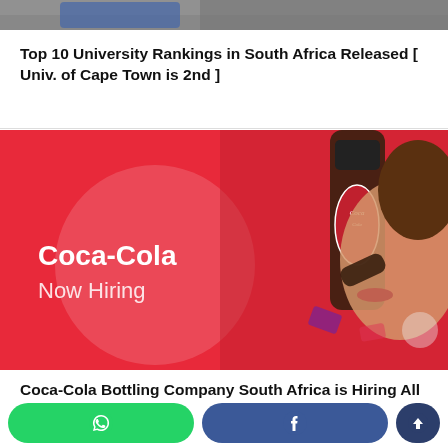[Figure (photo): Partial top strip of an image, likely a university or outdoor scene, mostly obscured]
Top 10 University Rankings in South Africa Released [ Univ. of Cape Town is 2nd ]
[Figure (photo): Coca-Cola Now Hiring advertisement image showing a woman drinking from a Coca-Cola bottle, with red background and white text reading Coca-Cola Now Hiring]
Coca-Cola Bottling Company South Africa is Hiring All Positions !
[Figure (other): Bottom navigation bar with green WhatsApp button, blue Facebook button, and dark blue scroll-up arrow button]